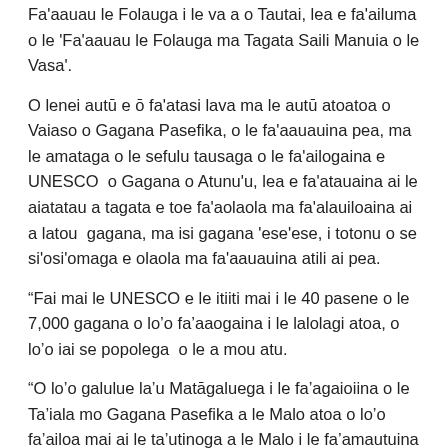Fa'aauau le Folauga i le va a o Tautai, lea e fa'ailuma o le 'Fa'aauau le Folauga ma Tagata Saili Manuia o le Vasa'.
O lenei autū e ō fa'atasi lava ma le autū atoatoa o Vaiaso o Gagana Pasefika, o le fa'aauauina pea, ma le amataga o le sefulu tausaga o le fa'ailogaina e UNESCO  o Gagana o Atunu'u, lea e fa'atauaina ai le aiatatau a tagata e toe fa'aolaola ma fa'alauiloaina ai a latou  gagana, ma isi gagana 'ese'ese, i totonu o se si'osi'omaga e olaola ma fa'aauauina atili ai pea.
“Fai mai le UNESCO e le itiiti mai i le 40 pasene o le 7,000 gagana o lo'o fa'aaogaina i le lalolagi atoa, o lo'o iai se popolega  o le a mou atu.
“O lo'o galulue la'u Matāgaluega i le fa'agaioiina o le Ta'iala mo Gagana Pasefika a le Malo atoa o lo'o fa'ailoa mai ai le ta'utinoga a le Malo i le fa'amautuina o gagana ma aganu'u a le Pasefika ina ia olaola i Aotearoa Niu Sila.